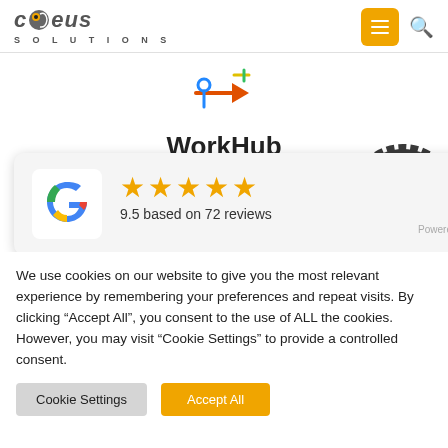[Figure (logo): Coeus Solutions company logo with stylized globe and text, plus hamburger menu button and search icon in header]
[Figure (logo): Decorative arrow/cursor logo mark centered on page]
WorkHub
[Figure (infographic): Google review popup showing 5 stars rating, 9.5 based on 72 reviews, Powered by eKomi]
[Figure (logo): Vidmonials badge: dark circular badge with video camera icon, text 'vidmonials' and 'VIDEOS SPEAK LOUDER THAN TEXT']
We use cookies on our website to give you the most relevant experience by remembering your preferences and repeat visits. By clicking "Accept All", you consent to the use of ALL the cookies. However, you may visit "Cookie Settings" to provide a controlled consent.
Cookie Settings
Accept All